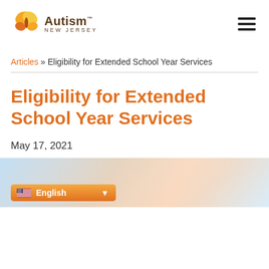Autism New Jersey [logo] [menu]
Articles » Eligibility for Extended School Year Services
Eligibility for Extended School Year Services
May 17, 2021
[Figure (screenshot): Bottom portion of a webpage showing a language selector widget with English selected and a US flag icon, overlaid on a blurred colorful background image.]